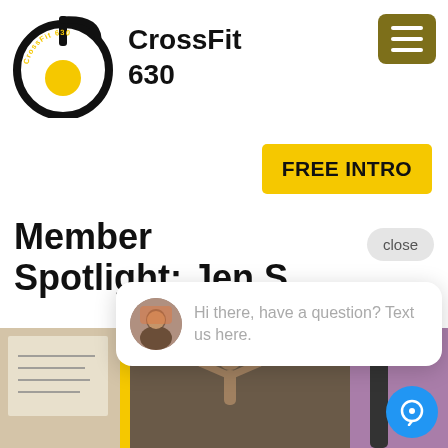[Figure (logo): CrossFit 630 logo — stylized number 6 with yellow circle, black strokes, diagonal text 'CrossFit 630' around the curve]
CrossFit
630
[Figure (other): Hamburger menu icon — three horizontal white lines on a dark olive/gold rounded square button]
[Figure (other): FREE INTRO yellow call-to-action button]
Member Spotlight: Jen S.
[Figure (other): Close button — rounded pill-shaped light gray button with text 'close']
[Figure (other): Chat widget bubble popup showing avatar photo of a person and text 'Hi there, have a question? Text us here.']
[Figure (photo): Partial gym interior photo — person doing a rope or bar exercise, gym wall with whiteboard, yellow accent strip, purple/magenta lighting on right]
[Figure (other): Blue circular chat icon button in bottom-right corner with speech bubble/question mark icon]